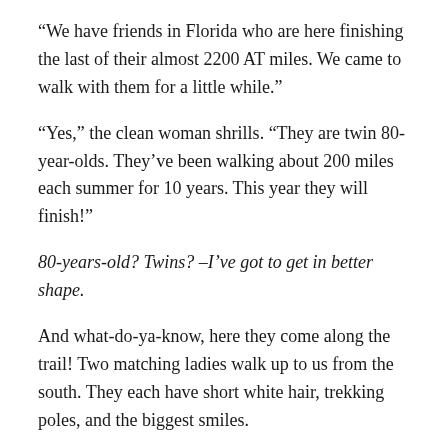“We have friends in Florida who are here finishing the last of their almost 2200 AT miles. We came to walk with them for a little while.”
“Yes,” the clean woman shrills. “They are twin 80-year-olds. They’ve been walking about 200 miles each summer for 10 years. This year they will finish!”
80-years-old? Twins? –I’ve got to get in better shape.
And what-do-ya-know, here they come along the trail! Two matching ladies walk up to us from the south. They each have short white hair, trekking poles, and the biggest smiles.
The man says, “They can’t hear too well.”